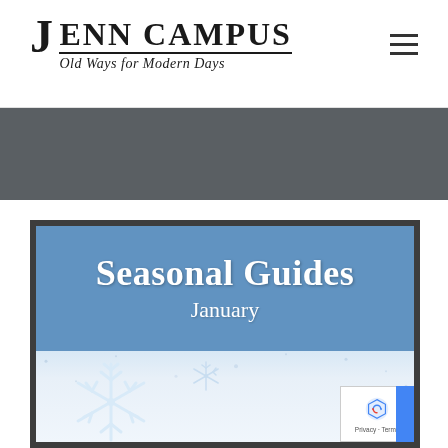JENN CAMPUS — Old Ways for Modern Days
[Figure (photo): Gray banner/hero image area below the header navigation bar]
[Figure (illustration): Seasonal Guides January banner image: blue background with large white text 'Seasonal Guides' and 'January', below which is a winter snow scene with white snowflakes on a light blue-white snowy background]